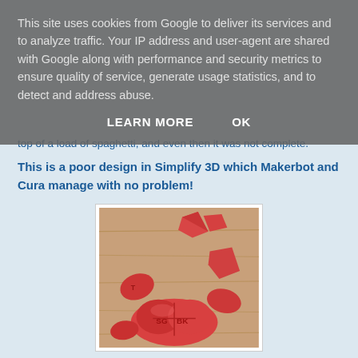This site uses cookies from Google to deliver its services and to analyze traffic. Your IP address and user-agent are shared with Google along with performance and security metrics to ensure quality of service, generate usage statistics, and to detect and address abuse.
LEARN MORE   OK
top of a load of spaghetti, and even then it was not complete.
This is a poor design in Simplify 3D which Makerbot and Cura manage with no problem!
[Figure (photo): Photo of broken red 3D-printed heart-shaped pieces scattered on a wooden surface, with letters 'SG', 'BK' visible on some pieces]